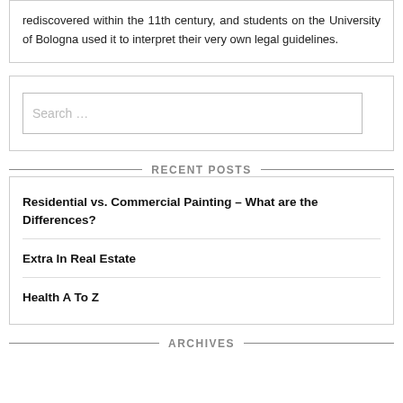rediscovered within the 11th century, and students on the University of Bologna used it to interpret their very own legal guidelines.
[Figure (other): Search input box with placeholder text 'Search ...']
RECENT POSTS
Residential vs. Commercial Painting – What are the Differences?
Extra In Real Estate
Health A To Z
ARCHIVES